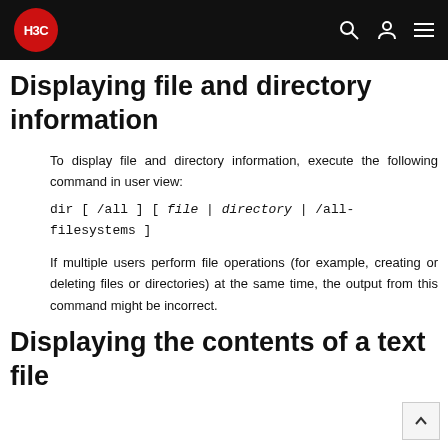H3C
Displaying file and directory information
To display file and directory information, execute the following command in user view:
If multiple users perform file operations (for example, creating or deleting files or directories) at the same time, the output from this command might be incorrect.
Displaying the contents of a text file